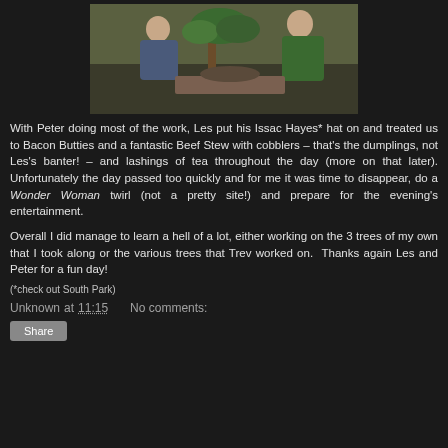[Figure (photo): Two people working on a bonsai tree outdoors in a garden setting]
With Peter doing most of the work, Les put his Issac Hayes* hat on and treated us to Bacon Butties and a fantastic Beef Stew with cobblers – that's the dumplings, not Les's banter! – and lashings of tea throughout the day (more on that later). Unfortunately the day passed too quickly and for me it was time to disappear, do a Wonder Woman twirl (not a pretty site!) and prepare for the evening's entertainment.
Overall I did manage to learn a hell of a lot, either working on the 3 trees of my own that I took along or the various trees that Trev worked on.  Thanks again Les and Peter for a fun day!
(*check out South Park)
Unknown at 11:15    No comments:
Share